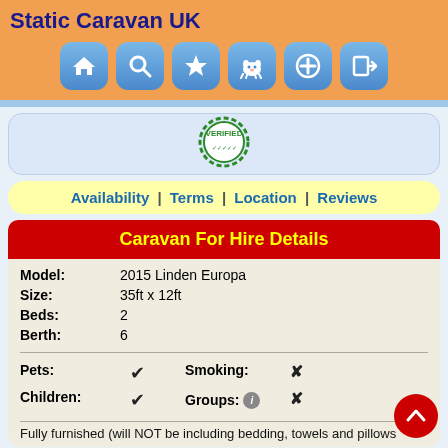Static Caravan UK
[Figure (screenshot): Navigation icons: home, search, star, pet/dog, plus, login]
[Figure (illustration): Green circular VERIFIED stamp/seal]
Availability | Terms | Location | Reviews
Caravan For Hire Details
| Field | Value |
| --- | --- |
| Model: | 2015 Linden Europa |
| Size: | 35ft x 12ft |
| Beds: | 2 |
| Berth: | 6 |
| Pets: | ✓ |
| Children: | ✓ |
| Smoking: | ✗ |
| Groups: | ✗ |
Fully furnished (will NOT be including bedding, towels and pillows